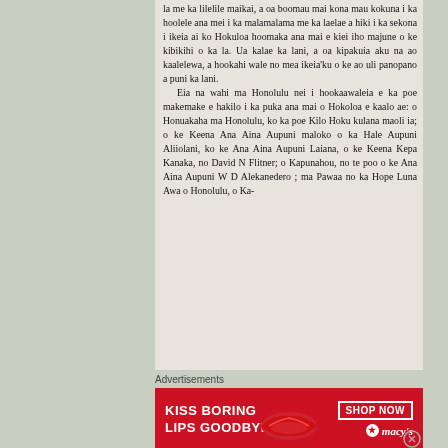la me ka lilelile maikai, a oa boomau mai kona mau kokuna i ka hoolele ana mei i ka malamalama me ka laelae a hiki i ka sekona i ikeia ai ko Hokuloa hoomaka ana mai e kiei iho majone o ke kibikihi o ka la. Ua kalae ka lani, a oa kipakuia aku na ao kaalelewa, a hookahi wale no mea ikeia'ku o ke ao uli panopano a puni ka lani. Eia na wahi ma Honolulu nei i hookaawaleia e ka poe makemake e hakilo i ka puka ana mai o Hokoloa e kaalo ae: o Honuakaha ma Honolulu, ko ka poe Kilo Hoku kulana maoli ia; o ke Keena Ana Aina Aupuni maloko o ka Hale Aupuni Aliiolani, ko ke Ana Aina Aupuni Laiana, o ke Keena Kepa Kanaka, no David N Fitner; o Kapunahou, no te poo o ke Ana Aina Aupuni W D Alekanedero; ma Pawaa no ka Hope Luna Awa o Honolulu, o Ka-
Advertisements
[Figure (photo): Advertisement banner for Macy's lipstick: 'KISS BORING LIPS GOODBYE' with SHOP NOW button and Macy's logo with star]